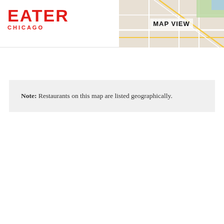EATER CHICAGO
[Figure (map): MAP VIEW label over a partial Google Maps screenshot showing Chicago area streets in top-right corner of header]
Note: Restaurants on this map are listed geographically.